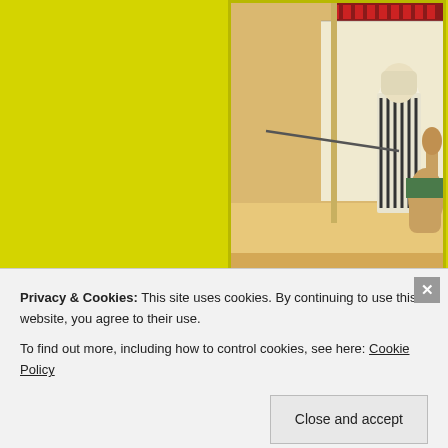[Figure (illustration): Painting by Adam Styka titled 'Rest In The Desert' showing a desert scene with a robed figure, camels, colorful pottery/vessels on a patterned rug in the foreground, and a tent or fabric structure in the background. Sandy desert setting. Artist signature 'ADAM STYKA' in lower right corner.]
— Rest In The Desert
[Figure (illustration): Partial view of another painting, showing reddish/orange tones, partially obscured by cookie consent banner.]
Privacy & Cookies: This site uses cookies. By continuing to use this website, you agree to their use.
To find out more, including how to control cookies, see here: Cookie Policy
Close and accept